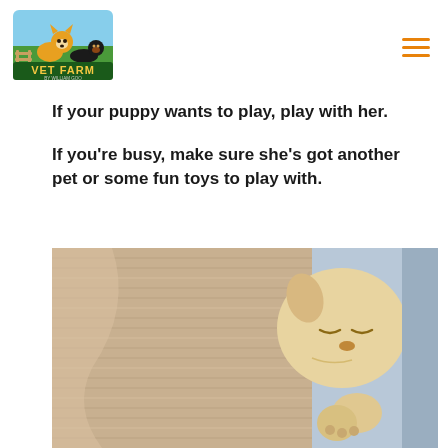[Figure (logo): Vet Farm by William Goo logo featuring cartoon corgi and dachshund dogs with colorful text]
If your puppy wants to play, play with her.
If you’re busy, make sure she’s got another pet or some fun toys to play with.
[Figure (photo): A sleeping newborn puppy nestled in a knit beige sweater, pale yellow/cream colored puppy curled up asleep]